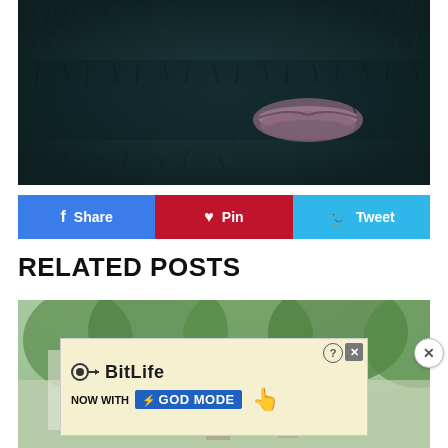[Figure (photo): Close-up of a dark furry creature (possibly a monster or animal) with visible lips/mouth, fur texture in dark teal/green tones]
Share | Pin | Tweet
RELATED POSTS
[Figure (photo): Outdoor scene with people, green trees and foliage in background]
[Figure (screenshot): BitLife advertisement banner - 'NOW WITH GOD MODE' promotional ad with hand pointer graphic]